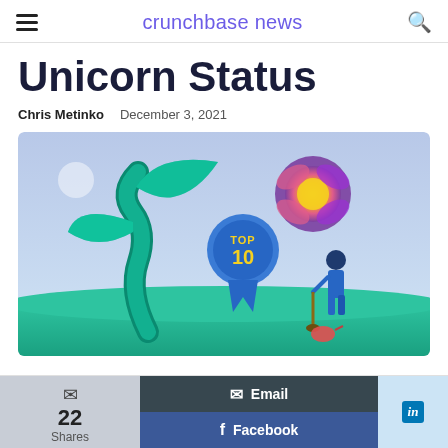crunchbase news
Unicorn Status
Chris Metinko   December 3, 2021
[Figure (illustration): Illustration of a person in blue overalls holding a shovel, standing next to a large twisted teal plant/tree and a glowing flower, with a blue Top 10 ribbon badge in the center, on a green landscape with blue sky.]
22 Shares
Email   Facebook